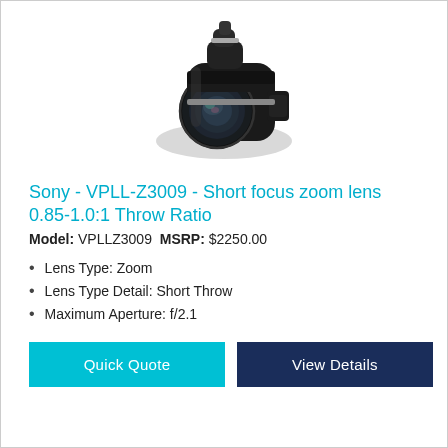[Figure (photo): Photo of a Sony VPLL-Z3009 short focus zoom projector lens, black barrel with visible front glass element, shown at a slight angle]
Sony - VPLL-Z3009 - Short focus zoom lens 0.85-1.0:1 Throw Ratio
Model: VPLLZ3009  MSRP: $2250.00
Lens Type: Zoom
Lens Type Detail: Short Throw
Maximum Aperture: f/2.1
Quick Quote
View Details